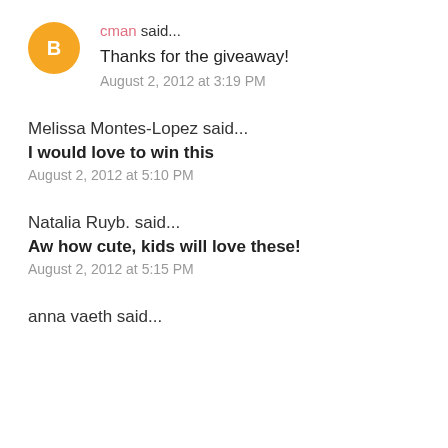[Figure (illustration): Orange circular Blogger avatar icon with white letter B inside]
cman said...
Thanks for the giveaway!
August 2, 2012 at 3:19 PM
Melissa Montes-Lopez said...
I would love to win this
August 2, 2012 at 5:10 PM
Natalia Ruyb. said...
Aw how cute, kids will love these!
August 2, 2012 at 5:15 PM
anna vaeth said...